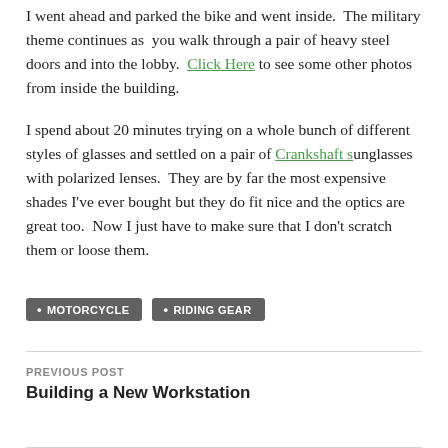I went ahead and parked the bike and went inside.  The military theme continues as  you walk through a pair of heavy steel doors and into the lobby.  Click Here to see some other photos from inside the building.
I spend about 20 minutes trying on a whole bunch of different styles of glasses and settled on a pair of Crankshaft sunglasses with polarized lenses.  They are by far the most expensive shades I've ever bought but they do fit nice and the optics are great too.  Now I just have to make sure that I don't scratch them or loose them.
MOTORCYCLE
RIDING GEAR
PREVIOUS POST
Building a New Workstation